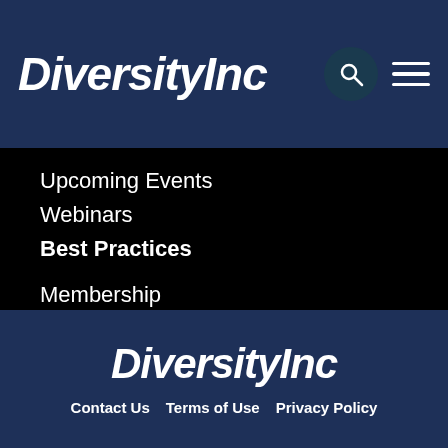DiversityInc
Upcoming Events
Webinars
Best Practices
Membership
Job Board
[Figure (logo): Accessibility badge with wheelchair, arrow, and computer icons]
DiversityInc
Contact Us   Terms of Use   Privacy Policy